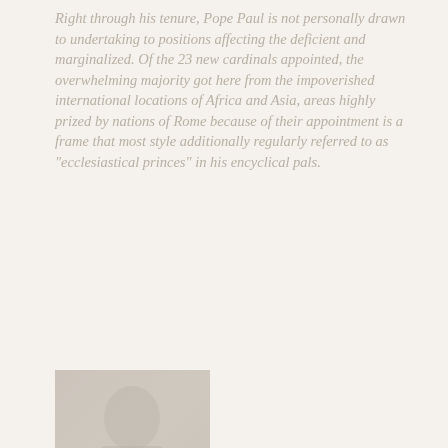Right through his tenure, Pope Paul is not personally drawn to undertaking to positions affecting the deficient and marginalized. Of the 23 new cardinals appointed, the overwhelming majority got here from the impoverished international locations of Africa and Asia, areas highly prized by nations of Rome because of their appointment is a frame that most style additionally regularly referred to as "ecclesiastical princes" in his encyclical pals.
[Figure (photo): A faded black and white photograph of a person, possibly a religious figure, shown from the torso up.]
John XXIII believes that al day without studying isn't an afternoon. He's a political and a health mortal and attorney. For its mind and cleverness, he can use his two sons and straight